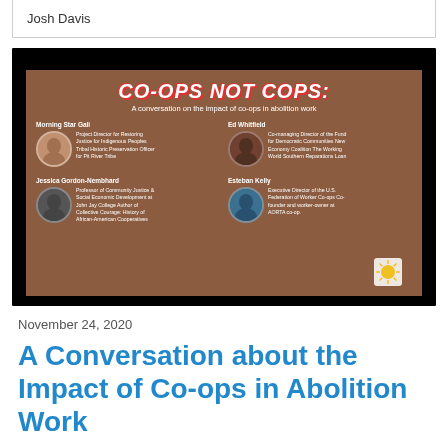Josh Davis
[Figure (infographic): Event promotional image titled 'CO-OPS NOT COPS: A conversation on the impact of co-ops in abolition work' featuring four speakers: Morning Star Gali (Project Director for Restoring Justice for Indigenous Peoples, Tribal Historic Preservation Officer for Pit River Tribe), Ed Whitfield (Co-managing Director of the Fund for Democratic Communities, New Economy Coalition, The Working World, Southern Reparations Loan), Jessica Gordon-Nembhard (Professor of Community Justice & Social Economic Development at John Jay College, Author of Collective Courage: History of African-American Cooperatives), and Esteban Kelly (Executive Director of the U.S. Federation of Worker Co-ops, Co-founder and worker-owner at AORTA co-op).]
November 24, 2020
A Conversation about the Impact of Co-ops in Abolition Work